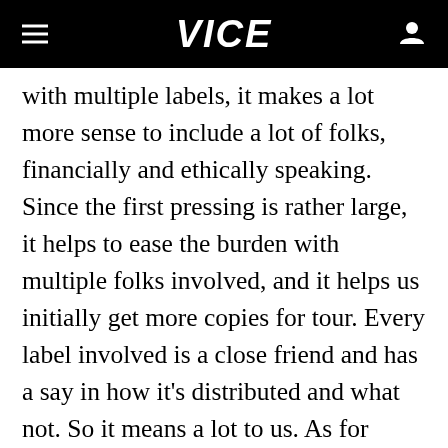VICE
with multiple labels, it makes a lot more sense to include a lot of folks, financially and ethically speaking. Since the first pressing is rather large, it helps to ease the burden with multiple folks involved, and it helps us initially get more copies for tour. Every label involved is a close friend and has a say in how it's distributed and what not. So it means a lot to us. As for bigger label stuff, no plans for that at the moment. We are all quite busy enough. I understand why people do though; this band has become a second job, that pays much less than minimum wage when all is said and done. With a big label